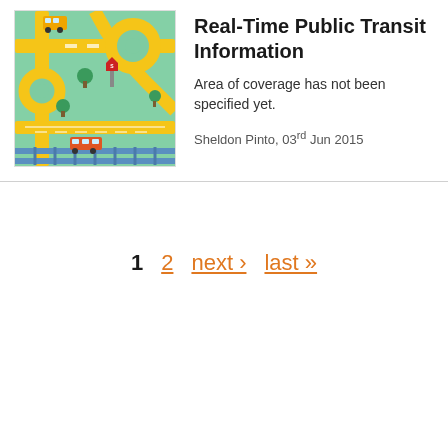[Figure (illustration): Colorful cartoon illustration of a public transit map with roads, roundabouts, rail tracks, buses, and trams on a green and light blue background]
Real-Time Public Transit Information
Area of coverage has not been specified yet.
Sheldon Pinto, 03rd Jun 2015
1  2  next ›  last »